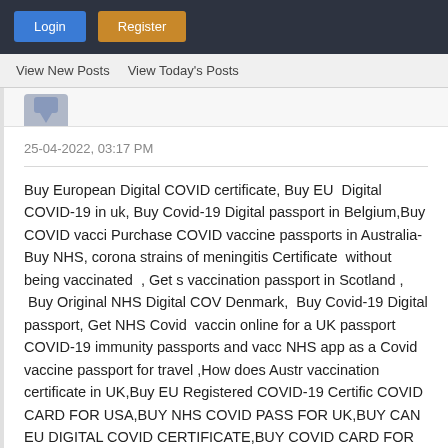Login | Register
View New Posts   View Today's Posts
25-04-2022, 03:17 PM
Buy European Digital COVID certificate, Buy EU  Digital COVID-19 in uk, Buy Covid-19 Digital passport in Belgium,Buy COVID vaccine, Purchase COVID vaccine passports in Australia-Buy NHS, corona strains of meningitis Certificate  without being vaccinated , Get  vaccination passport in Scotland ,  Buy Original NHS Digital COVID Denmark,  Buy Covid-19 Digital passport, Get NHS Covid  vaccine online for a UK passport COVID-19 immunity passports and vaco NHS app as a Covid vaccine passport for travel ,How does Austr vaccination certificate in UK,Buy EU Registered COVID-19 Certific COVID CARD FOR USA,BUY NHS COVID PASS FOR UK,BUY CAN EU DIGITAL COVID CERTIFICATE,BUY COVID CARD FOR IRELAN UNVACCINATED,BUY COVID-19 VACCINE CARDS,  BUY VACCINE VACCINE PASSPORT ENGLAND buy vaccine passport england b